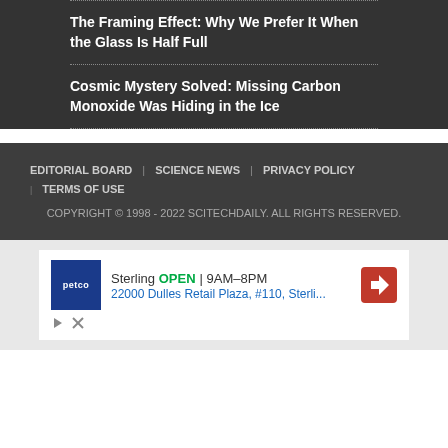The Framing Effect: Why We Prefer It When the Glass Is Half Full
Cosmic Mystery Solved: Missing Carbon Monoxide Was Hiding in the Ice
EDITORIAL BOARD | SCIENCE NEWS | PRIVACY POLICY | TERMS OF USE
COPYRIGHT © 1998 - 2022 SCITECHDAILY. ALL RIGHTS RESERVED.
[Figure (screenshot): Advertisement for Petco store in Sterling, showing store logo, open status, hours (9AM-8PM), and address (22000 Dulles Retail Plaza, #110, Sterli...)]